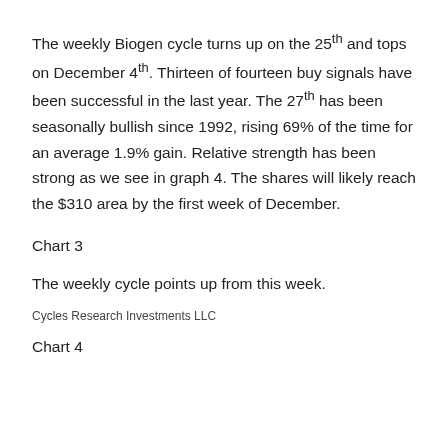The weekly Biogen cycle turns up on the 25th and tops on December 4th. Thirteen of fourteen buy signals have been successful in the last year. The 27th has been seasonally bullish since 1992, rising 69% of the time for an average 1.9% gain. Relative strength has been strong as we see in graph 4. The shares will likely reach the $310 area by the first week of December.
Chart 3
The weekly cycle points up from this week.
Cycles Research Investments LLC
Chart 4